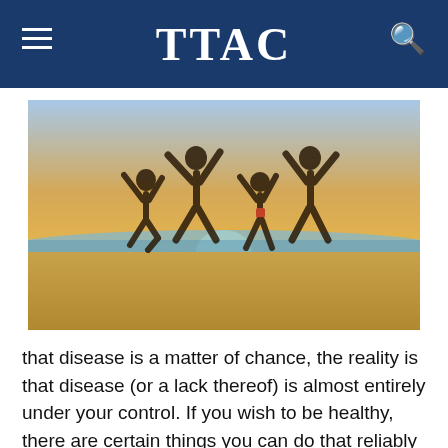TTAC
[Figure (photo): Four people (a family) jumping joyfully on a beach at sunset with arms outstretched, silhouetted against a bright golden sky and ocean in the background.]
that disease is a matter of chance, the reality is that disease (or a lack thereof) is almost entirely under your control. If you wish to be healthy, there are certain things you can do that reliably and consistently produce a healthy outcome.